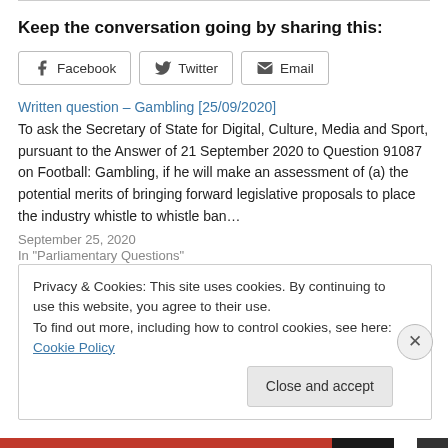Keep the conversation going by sharing this:
[Figure (other): Social share buttons: Facebook, Twitter, Email]
Written question – Gambling [25/09/2020]
To ask the Secretary of State for Digital, Culture, Media and Sport, pursuant to the Answer of 21 September 2020 to Question 91087 on Football: Gambling, if he will make an assessment of (a) the potential merits of bringing forward legislative proposals to place the industry whistle to whistle ban…
September 25, 2020
In "Parliamentary Questions"
Privacy & Cookies: This site uses cookies. By continuing to use this website, you agree to their use. To find out more, including how to control cookies, see here: Cookie Policy